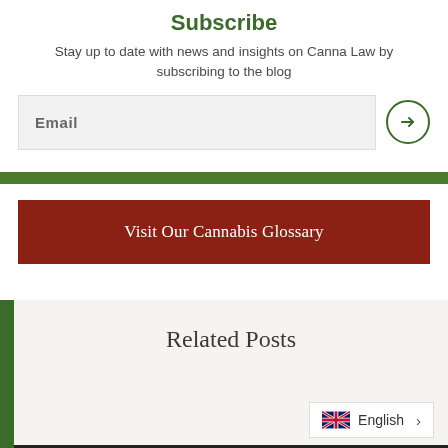Subscribe
Stay up to date with news and insights on Canna Law by subscribing to the blog
Email
[Figure (other): Green horizontal divider bar]
Visit Our Cannabis Glossary
Related Posts
English